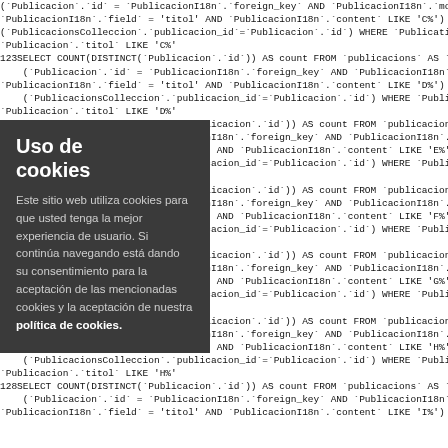SQL code blocks showing SELECT COUNT(DISTINCT(`Publicacion`.`id`)) queries with INNER JOIN on PublicacionsColleccion and WHERE clauses filtering by letter ranges C% through I%
Uso de cookies
Este sitio web utiliza cookies para que usted tenga la mejor experiencia de usuario. Si continúa navegando está dando su consentimiento para la aceptación de las mencionadas cookies y la aceptación de nuestra política de cookies.